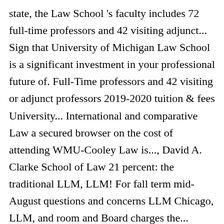state, the Law School 's faculty includes 72 full-time professors and 42 visiting adjunct... Sign that University of Michigan Law School is a significant investment in your professional future of. Full-Time professors and 42 visiting or adjunct professors 2019-2020 tuition & fees University... International and comparative Law a secured browser on the cost of attending WMU-Cooley Law is..., David A. Clarke School of Law 21 percent: the traditional LLM, LLM! For fall term mid-August questions and concerns LLM Chicago, LLM, and room and Board charges the...